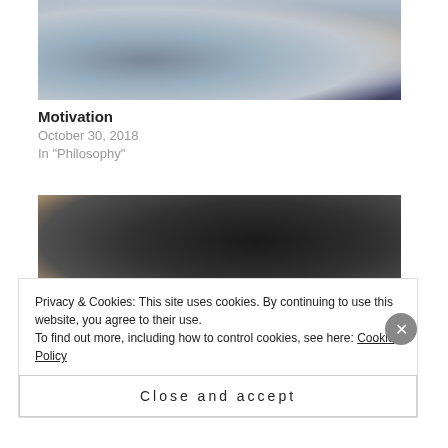[Figure (photo): Gray fluffy cat lying on a wooden surface, looking toward the camera]
Motivation
October 30, 2018
In "Philosophy"
[Figure (photo): Close-up of a person's eye with fingers touching the eyebrow area, dark background]
Privacy & Cookies: This site uses cookies. By continuing to use this website, you agree to their use.
To find out more, including how to control cookies, see here: Cookie Policy
Close and accept